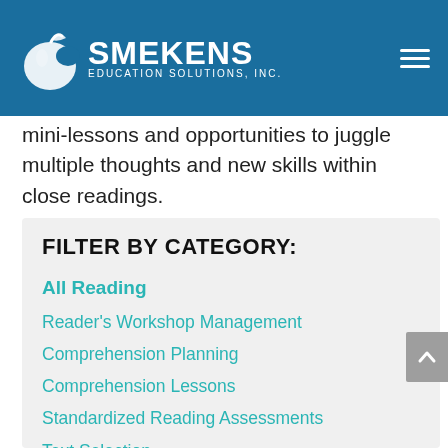Smekens Education Solutions, Inc.
mini-lessons and opportunities to juggle multiple thoughts and new skills within close readings.
FILTER BY CATEGORY:
All Reading
Reader's Workshop Management
Comprehension Planning
Comprehension Lessons
Standardized Reading Assessments
Text Selection
Annotating & Note-Taking
Writing About Reading
Literacy Stations